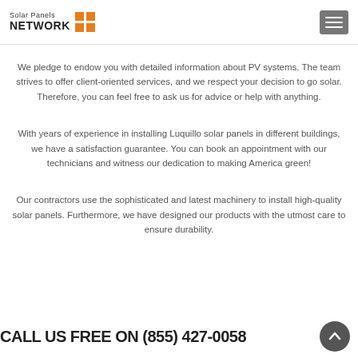Solar Panels NETWORK
We pledge to endow you with detailed information about PV systems. The team strives to offer client-oriented services, and we respect your decision to go solar. Therefore, you can feel free to ask us for advice or help with anything.
With years of experience in installing Luquillo solar panels in different buildings, we have a satisfaction guarantee. You can book an appointment with our technicians and witness our dedication to making America green!
Our contractors use the sophisticated and latest machinery to install high-quality solar panels. Furthermore, we have designed our products with the utmost care to ensure durability.
CALL US FREE ON (855) 427-0058